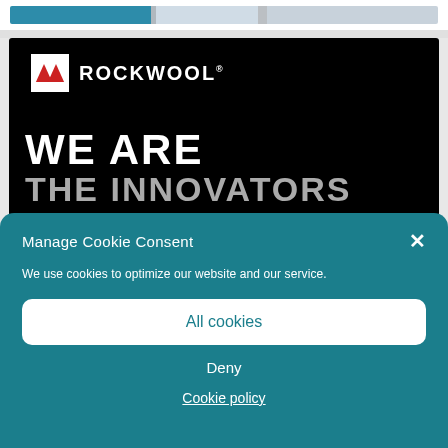[Figure (screenshot): Partial view of Rockwool website with a top image strip showing teal/blue banner content]
[Figure (photo): Rockwool brand image on black background showing the Rockwool logo and text 'WE ARE THE INNOVATORS']
Manage Cookie Consent
We use cookies to optimize our website and our service.
All cookies
Deny
Cookie policy